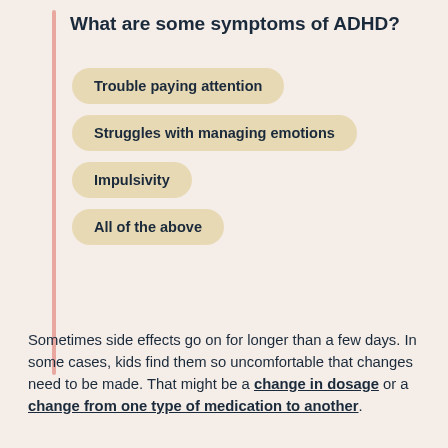What are some symptoms of ADHD?
Trouble paying attention
Struggles with managing emotions
Impulsivity
All of the above
Sometimes side effects go on for longer than a few days. In some cases, kids find them so uncomfortable that changes need to be made. That might be a change in dosage or a change from one type of medication to another.